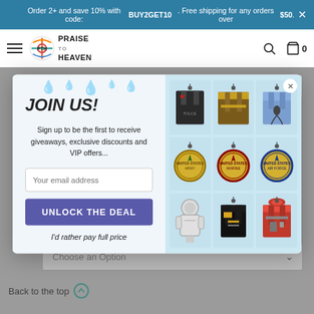Order 2+ and save 10% with code: BUY2GET10. Free shipping for any orders over $50.
[Figure (logo): Praise to Heaven logo with circular colorful icon and text]
JOIN US!
Sign up to be the first to receive giveaways, exclusive discounts and VIP offers...
Your email address
UNLOCK THE DEAL
I'd rather pay full price
[Figure (photo): Grid of military/first responder ornament products including firefighter jacket, police vest, medical scrubs, military rank coins, astronaut, dress uniform, and firefighter in gear]
Choose an Option
Back to the top